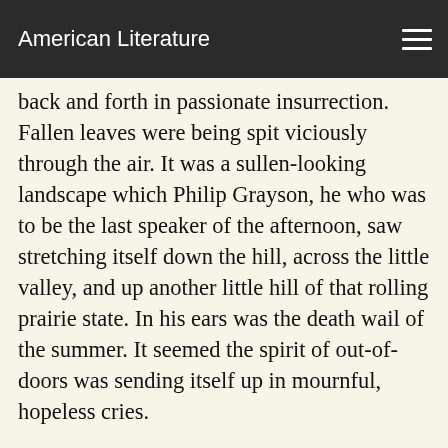American Literature
back and forth in passionate insurrection. Fallen leaves were being spit viciously through the air. It was a sullen-looking landscape which Philip Grayson, he who was to be the last speaker of the afternoon, saw stretching itself down the hill, across the little valley, and up another little hill of that rolling prairie state. In his ears was the death wail of the summer. It seemed the spirit of out-of-doors was sending itself up in mournful, hopeless cries.
The speaker who had been delivering himself of pedantic encouragement about the open arms with which the world stood ready to receive the most degraded one, would that degraded one but come